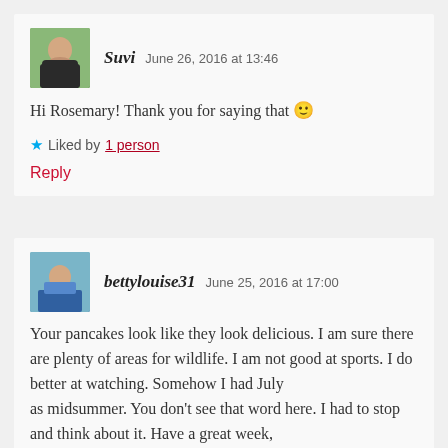Suvi   June 26, 2016 at 13:46
Hi Rosemary! Thank you for saying that 🙂
★ Liked by 1 person
Reply
bettylouise31   June 25, 2016 at 17:00
Your pancakes look like they look delicious. I am sure there are plenty of areas for wildlife. I am not good at sports. I do better at watching. Somehow I had July as midsummer. You don't see that word here. I had to stop and think about it. Have a great week,